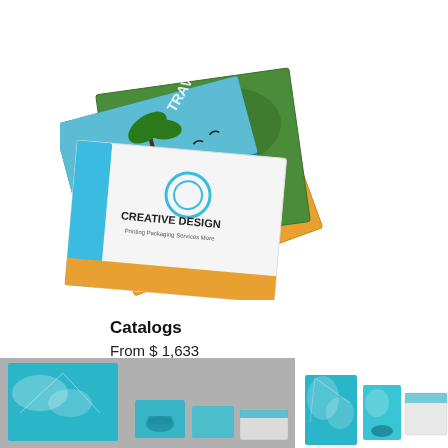[Figure (photo): Stack of colorful marketing catalogs/brochures fanned out, with one showing 'CREATIVE DESIGN' text and a travel-themed cover with palm trees and ocean scene]
Catalogs
From $ 1,633
[Figure (photo): Marketing catalog/brochure spread showing a teal and white world map design on a grey background, partially visible]
[Figure (photo): Marketing catalog/brochure spread showing teal and white world map design materials, multiple pieces arranged]